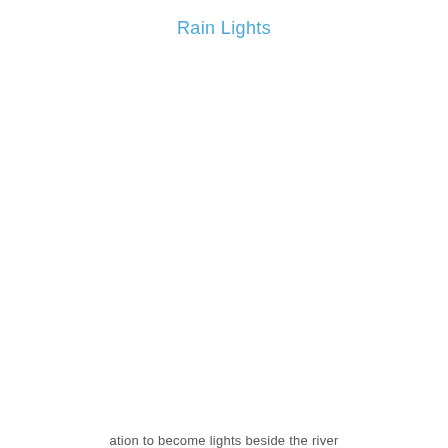Rain Lights
ation to become lights beside the river